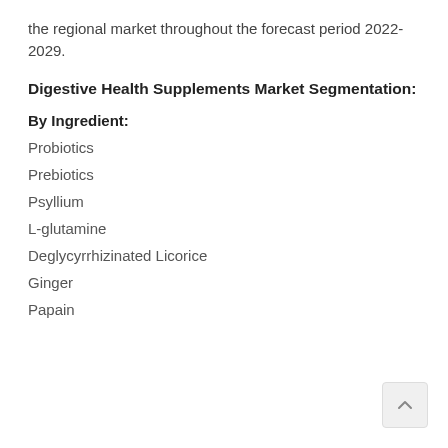the regional market throughout the forecast period 2022-2029.
Digestive Health Supplements Market Segmentation:
By Ingredient:
Probiotics
Prebiotics
Psyllium
L-glutamine
Deglycyrrhizinated Licorice
Ginger
Papain